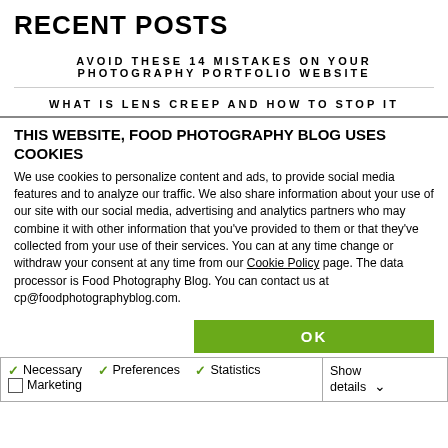RECENT POSTS
AVOID THESE 14 MISTAKES ON YOUR PHOTOGRAPHY PORTFOLIO WEBSITE
WHAT IS LENS CREEP AND HOW TO STOP IT
THIS WEBSITE, FOOD PHOTOGRAPHY BLOG USES COOKIES
We use cookies to personalize content and ads, to provide social media features and to analyze our traffic. We also share information about your use of our site with our social media, advertising and analytics partners who may combine it with other information that you've provided to them or that they've collected from your use of their services. You can at any time change or withdraw your consent at any time from our Cookie Policy page. The data processor is Food Photography Blog. You can contact us at cp@foodphotographyblog.com.
| Consent options | Action |
| --- | --- |
| ☑ Necessary  ☑ Preferences  ☑ Statistics  ☐ Marketing | Show details ▾ |